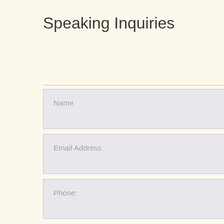Speaking Inquiries
Name
Email Address
Phone:
Message